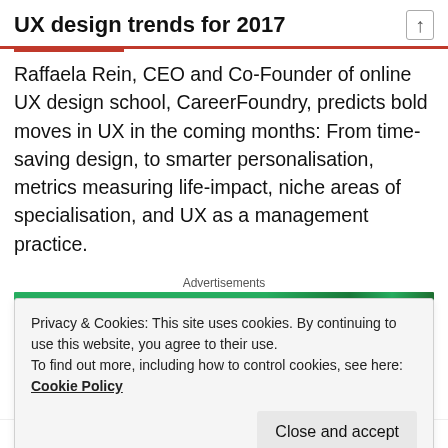UX design trends for 2017
Raffaela Rein, CEO and Co-Founder of online UX design school, CareerFoundry, predicts bold moves in UX in the coming months: From time-saving design, to smarter personalisation, metrics measuring life-impact, niche areas of specialisation, and UX as a management practice.
Advertisements
Privacy & Cookies: This site uses cookies. By continuing to use this website, you agree to their use.
To find out more, including how to control cookies, see here:
Cookie Policy
For me, the growing area of UX is an